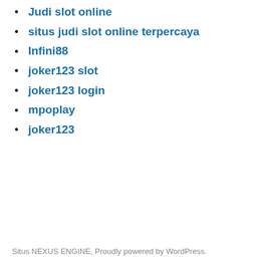Judi slot online
situs judi slot online terpercaya
Infini88
joker123 slot
joker123 login
mpoplay
joker123
Situs NEXUS ENGINE, Proudly powered by WordPress.